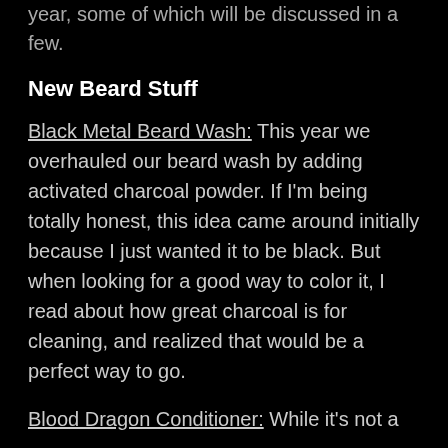year, some of which will be discussed in a few.
New Beard Stuff
Black Metal Beard Wash: This year we overhauled our beard wash by adding activated charcoal powder. If I'm being totally honest, this idea came around initially because I just wanted it to be black. But when looking for a good way to color it, I read about how great charcoal is for cleaning, and realized that would be a perfect way to go.
Blood Dragon Conditioner: While it's not a